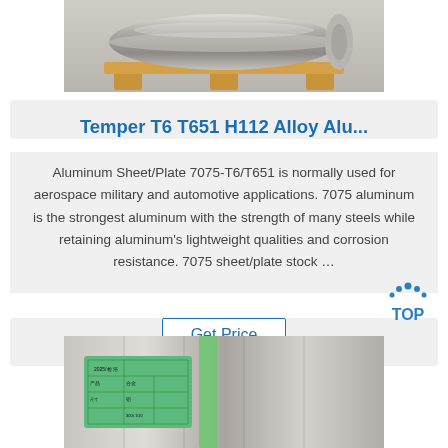[Figure (photo): Photo of a large aluminum roll/coil on a wooden pallet in a warehouse]
Temper T6 T651 H112 Alloy Alu...
Aluminum Sheet/Plate 7075-T6/T651 is normally used for aerospace military and automotive applications. 7075 aluminum is the strongest aluminum with the strength of many steels while retaining aluminum's lightweight qualities and corrosion resistance. 7075 sheet/plate stock …
[Figure (other): Get Price button]
[Figure (logo): TOP button with dotted arc and blue dots]
[Figure (photo): Photo of aluminum rolls/coils with a green label tag showing Chinese text and a table]